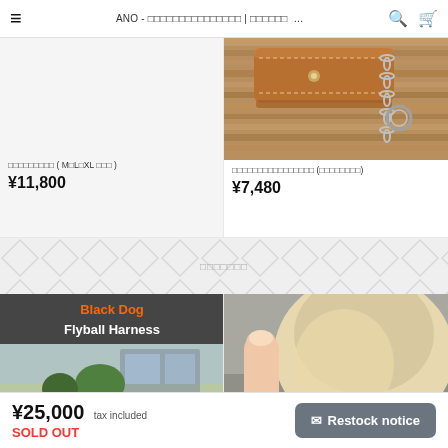ANO - □□□□□□□□□□□□□□□ | □□□□□□
[Figure (photo): Product listing - Left product with gray background]
□□□□□□□□□ ( M□L□XL □□□ )
¥11,800
[Figure (photo): Brown leather dog leash/collar with chain hardware on wooden surface]
□□□□□□□□□□□□□□□□ (□□□□□□□□)
¥7,480
□□□□□□□
[Figure (photo): Black Dog Flyball Harness product photo with dog wearing harness outdoors]
[Figure (photo): Dog wearing rope/paracord collar, close up of neck area]
¥25,000 tax included
SOLD OUT
✉ Restock notice